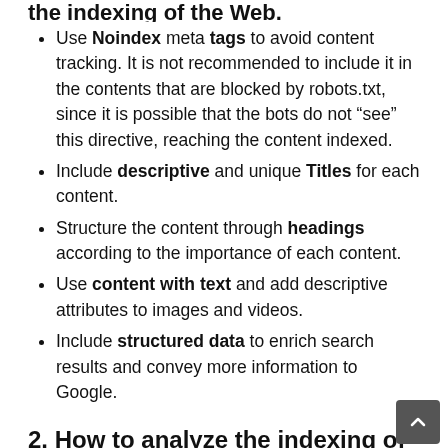the indexing of the Web.
Use Noindex meta tags to avoid content tracking. It is not recommended to include it in the contents that are blocked by robots.txt, since it is possible that the bots do not “see” this directive, reaching the content indexed.
Include descriptive and unique Titles for each content.
Structure the content through headings according to the importance of each content.
Use content with text and add descriptive attributes to images and videos.
Include structured data to enrich search results and convey more information to Google.
2. How to analyze the indexing of my website?
In the case of indexing, we can go to the “coverage” report provided by Search Console, in addition to the “URL inspector” tool, from which we can analyze the specific